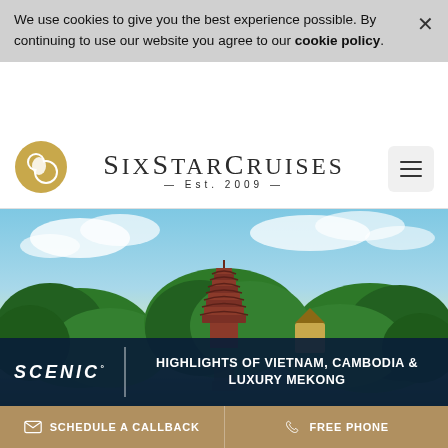We use cookies to give you the best experience possible. By continuing to use our website you agree to our cookie policy.
SIX STAR CRUISES — Est. 2009 —
[Figure (photo): A Vietnamese pagoda tower surrounded by large tropical trees reflected in a lake, with blue sky and clouds in the background]
SCENIC°
HIGHLIGHTS OF VIETNAM, CAMBODIA & LUXURY MEKONG
SCHEDULE A CALLBACK
FREE PHONE